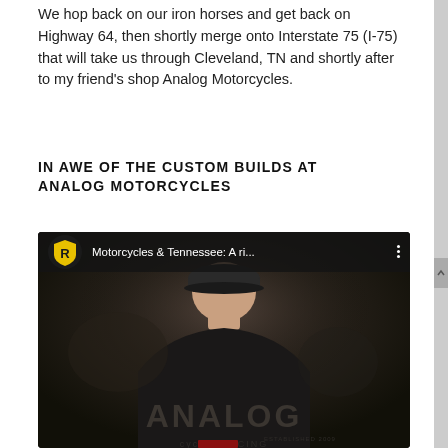We hop back on our iron horses and get back on Highway 64, then shortly merge onto Interstate 75 (I-75) that will take us through Cleveland, TN and shortly after to my friend's shop Analog Motorcycles.
IN AWE OF THE CUSTOM BUILDS AT ANALOG MOTORCYCLES
[Figure (screenshot): YouTube video thumbnail showing a person from behind wearing a black 'ANALOG' branded shirt and cap. The video title bar reads 'Motorcycles & Tennessee: A ri...' with a yellow shield logo icon and three-dot menu.]